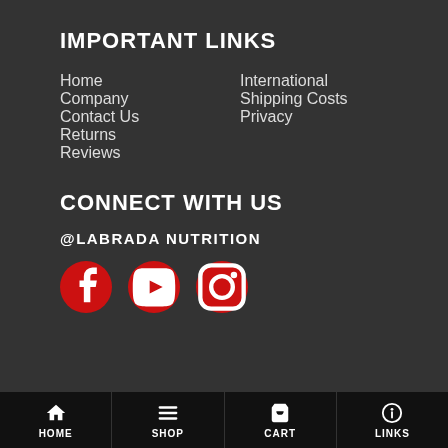IMPORTANT LINKS
Home
International
Company
Shipping Costs
Contact Us
Privacy
Returns
Reviews
CONNECT WITH US
@LABRADA NUTRITION
[Figure (illustration): Three red circular social media icons: Facebook (f), YouTube (play button), Instagram (camera)]
HOME | SHOP | CART | LINKS